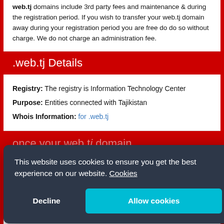web.tj domains include 3rd party fees and maintenance & during the registration period. If you wish to transfer your web.tj domain away during your registration period you are free do do so without charge. We do not charge an administration fee.
.web.tj Details
Registry: The registry is Information Technology Center
Purpose: Entities connected with Tajikistan
Whois Information: for .web.tj
once your web.tj domain
that it is registered).
This website uses cookies to ensure you get the best experience on our website. Cookies
Decline
Allow cookies